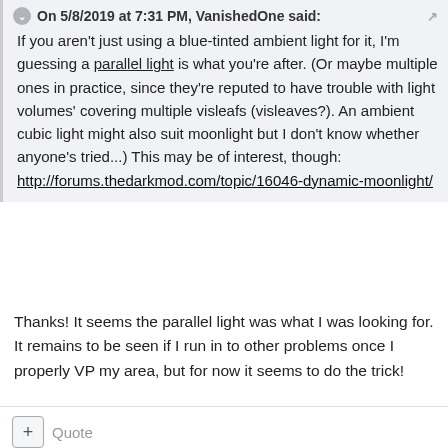On 5/8/2019 at 7:31 PM, VanishedOne said:
If you aren't just using a blue-tinted ambient light for it, I'm guessing a parallel light is what you're after. (Or maybe multiple ones in practice, since they're reputed to have trouble with light volumes' covering multiple visleafs (visleaves?). An ambient cubic light might also suit moonlight but I don't know whether anyone's tried...) This may be of interest, though: http://forums.thedarkmod.com/topic/16046-dynamic-moonlight/
Thanks! It seems the parallel light was what I was looking for. It remains to be seen if I run in to other problems once I properly VP my area, but for now it seems to do the trick!
+ Quote